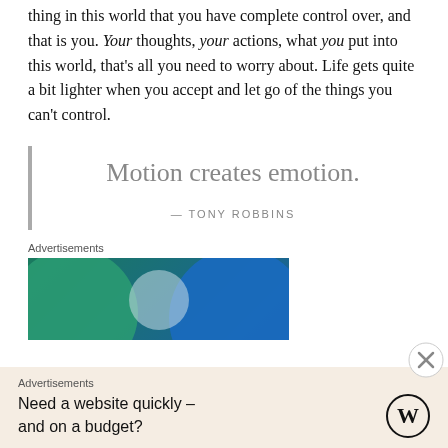thing in this world that you have complete control over, and that is you. Your thoughts, your actions, what you put into this world, that's all you need to worry about. Life gets quite a bit lighter when you accept and let go of the things you can't control.
Motion creates emotion.
— TONY ROBBINS
Advertisements
[Figure (illustration): Advertisement banner with overlapping dark teal and blue circles on a dark blue background, creating a Venn diagram-like shape with a lighter overlap region in the center.]
Advertisements
Need a website quickly – and on a budget?